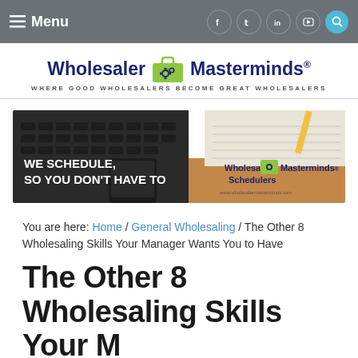Menu | f | tw | in | yt | search
[Figure (logo): Wholesaler Masterminds logo with briefcase and gears icon. Tagline: WHERE GOOD WHOLESALERS BECOME GREAT WHOLESALERS]
[Figure (infographic): Banner advertisement: laptop keyboard, notebook, phone on wooden desk. Text: WE SCHEDULE, SO YOU DON'T HAVE TO. Wholesaler Masterminds Schedulers logo on right.]
You are here: Home / General Wholesaling / The Other 8 Wholesaling Skills Your Manager Wants You to Have
The Other 8 Wholesaling Skills Your M...